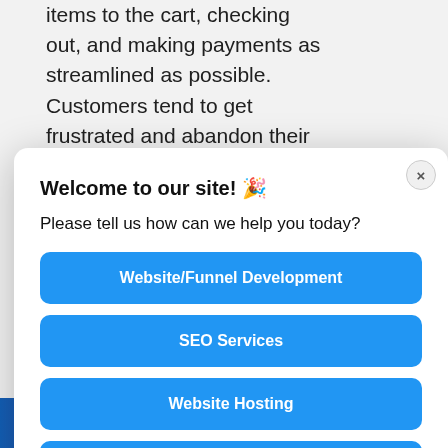items to the cart, checking out, and making payments as streamlined as possible. Customers tend to get frustrated and abandon their carts if this is not the
[Figure (screenshot): A website chat/support modal dialog overlay on a webpage. The modal has a white background with rounded corners, a close (×) button in the top-right, and contains: Title 'Welcome to our site! 🎉', subtitle 'Please tell us how can we help you today?', and five blue/gray buttons: 'Website/Funnel Development', 'SEO Services', 'Website Hosting', 'Marketing Automation', 'Other'. Behind the modal, partially visible page text and a pink button and avatar circle of a man in a suit are visible. At the bottom is a gradient banner.]
oping
easy.
ctions
er any